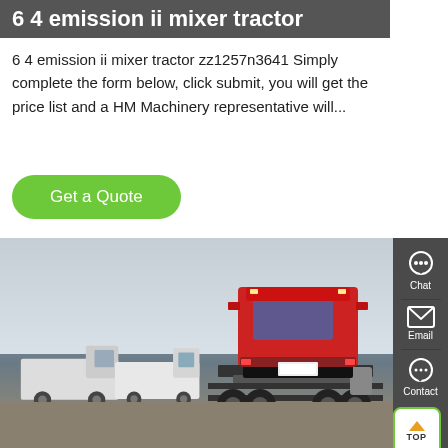6 4 emission ii mixer tractor
6 4 emission ii mixer tractor zz1257n3641 Simply complete the form below, click submit, you will get the price list and a HM Machinery representative will...
Get a Quote
[Figure (photo): Rear view of a red HOWO 6x4 tractor truck parked in a lot with other white trucks in the background]
[Figure (infographic): Sidebar with Chat, Email, and Contact icons on a dark grey background, plus a TOP button with green border]